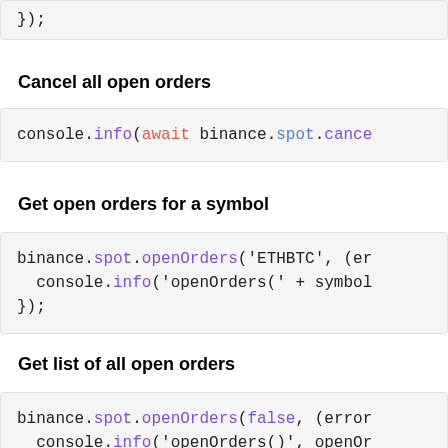});
Cancel all open orders
console.info(await binance.spot.cance
Get open orders for a symbol
binance.spot.openOrders('ETHBTC', (er
  console.info('openOrders(' + symbol
});
Get list of all open orders
binance.spot.openOrders(false, (error
  console.info('openOrders()', openOr